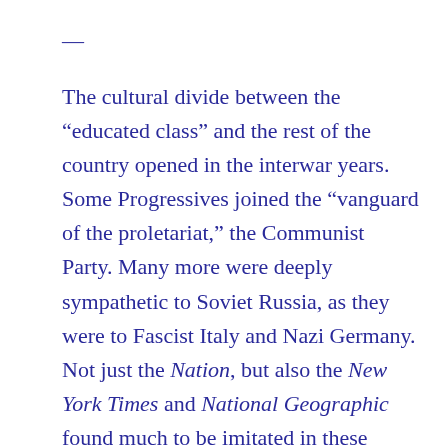—
The cultural divide between the “educated class” and the rest of the country opened in the interwar years. Some Progressives joined the “vanguard of the proletariat,” the Communist Party. Many more were deeply sympathetic to Soviet Russia, as they were to Fascist Italy and Nazi Germany. Not just the Nation, but also the New York Times and National Geographic found much to be imitated in these regimes because they promised energetically to transcend their peoples’ ways and to build “the new man.” Above